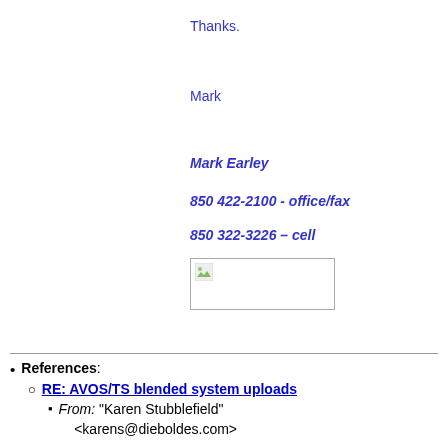Thanks.
Mark
Mark Earley
850 422-2100 - office/fax
850 322-3226 – cell
[Figure (other): Broken image placeholder (small icon with green leaf, white background, bordered box)]
References: RE: AVOS/TS blended system uploads — From: "Karen Stubblefield" <karens@dieboldes.com>